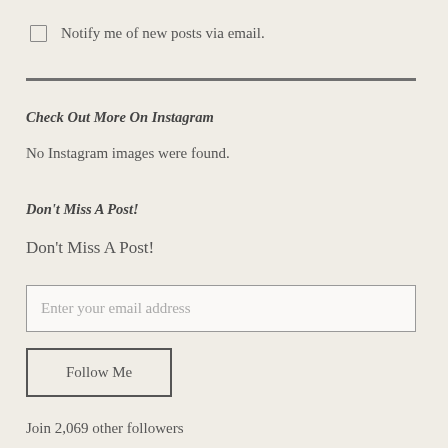Notify me of new posts via email.
Check Out More On Instagram
No Instagram images were found.
Don't Miss A Post!
Don't Miss A Post!
Enter your email address
Follow Me
Join 2,069 other followers